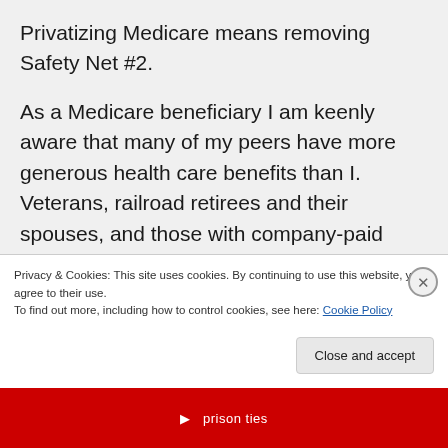Privatizing Medicare means removing Safety Net #2.
As a Medicare beneficiary I am keenly aware that many of my peers have more generous health care benefits than I. Veterans, railroad retirees and their spouses, and those with company-paid medical benefits in their retirement packages come to mind. All of them get
Privacy & Cookies: This site uses cookies. By continuing to use this website, you agree to their use.
To find out more, including how to control cookies, see here: Cookie Policy
Close and accept